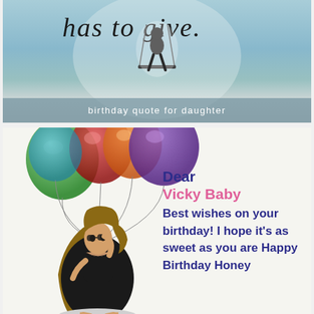[Figure (illustration): Top banner card with text 'has to give.' in serif font on a teal/blue gradient background with a silhouette of a person on a swing. Caption reads 'birthday quote for daughter'.]
birthday quote for daughter
[Figure (illustration): Birthday greeting card with illustrated girl in black dress holding colorful balloons (green, red, orange, purple) floating upward. Right side has birthday message text.]
Dear Vicky Baby Best wishes on your birthday! I hope it's as sweet as you are Happy Birthday Honey